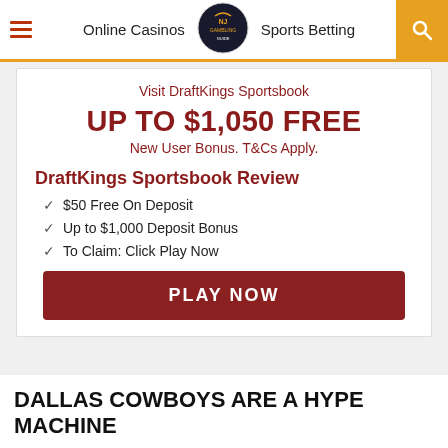Online Casinos  Sports Betting
Visit DraftKings Sportsbook
UP TO $1,050 FREE
New User Bonus. T&Cs Apply.
DraftKings Sportsbook Review
$50 Free On Deposit
Up to $1,000 Deposit Bonus
To Claim: Click Play Now
PLAY NOW
DALLAS COWBOYS ARE A HYPE MACHINE